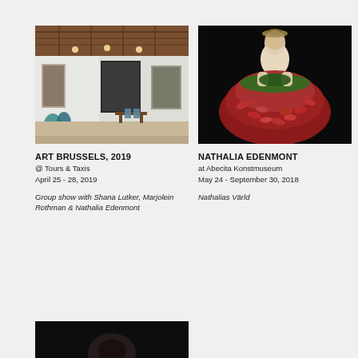[Figure (photo): Interior of Art Brussels 2019 fair booth at Tours & Taxis showing white walls with large artworks, teal sculptures on floor, and dining chairs]
ART BRUSSELS, 2019
@ Tours & Taxis
April 25 - 28, 2019
Group show with Shana Lutker, Marjolein Rothman & Nathalia Edenmont
[Figure (photo): Nathalia Edenmont artwork: woman in elaborate red chili pepper dress against black background]
NATHALIA EDENMONT
at Abecita Konstmuseum
May 24 - September 30, 2018
Nathalias Värld
[Figure (photo): Partial bottom photo strip showing dark image, partially cut off at page bottom]